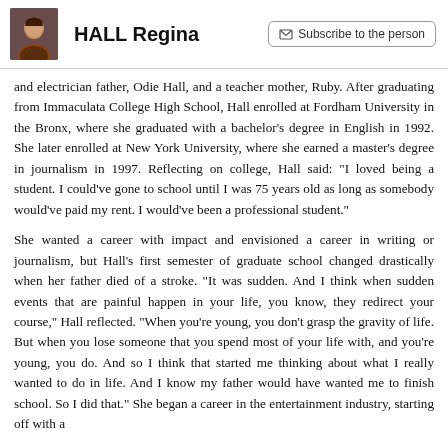HALL Regina | Subscribe to the person
and electrician father, Odie Hall, and a teacher mother, Ruby. After graduating from Immaculata College High School, Hall enrolled at Fordham University in the Bronx, where she graduated with a bachelor's degree in English in 1992. She later enrolled at New York University, where she earned a master's degree in journalism in 1997. Reflecting on college, Hall said: "I loved being a student. I could've gone to school until I was 75 years old as long as somebody would've paid my rent. I would've been a professional student."
She wanted a career with impact and envisioned a career in writing or journalism, but Hall's first semester of graduate school changed drastically when her father died of a stroke. "It was sudden. And I think when sudden events that are painful happen in your life, you know, they redirect your course," Hall reflected. "When you're young, you don't grasp the gravity of life. But when you lose someone that you spend most of your life with, and you're young, you do. And so I think that started me thinking about what I really wanted to do in life. And I know my father would have wanted me to finish school. So I did that." She began a career in the entertainment industry, starting off with a